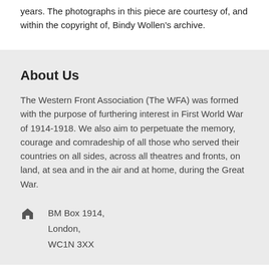years. The photographs in this piece are courtesy of, and within the copyright of, Bindy Wollen's archive.
About Us
The Western Front Association (The WFA) was formed with the purpose of furthering interest in First World War of 1914-1918. We also aim to perpetuate the memory, courage and comradeship of all those who served their countries on all sides, across all theatres and fronts, on land, at sea and in the air and at home, during the Great War.
BM Box 1914,
London,
WC1N 3XX